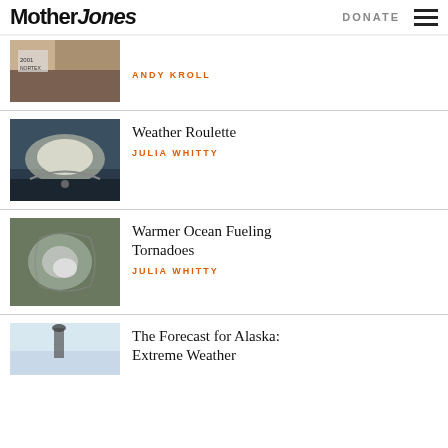Mother Jones   DONATE
ANDY KROLL
Weather Roulette — JULIA WHITTY
Warmer Ocean Fueling Tornadoes — JULIA WHITTY
The Forecast for Alaska: Extreme Weather